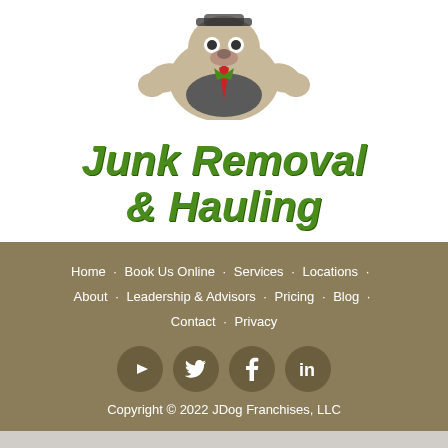[Figure (logo): JDog Junk Removal & Hauling logo with cartoon bulldog mascot wearing suit]
Junk Removal
& Hauling
Home · Book Us Online · Services · Locations · About · Leadership & Advisors · Pricing · Blog · Contact · Privacy
[Figure (illustration): Social media icons: YouTube, Twitter, Facebook, LinkedIn in dark circular buttons]
Copyright © 2022 JDog Franchises, LLC
GET A FREE ESTIMATE
[Figure (infographic): Bottom social sharing bar with Facebook, Twitter, Email, Pinterest, and More buttons]